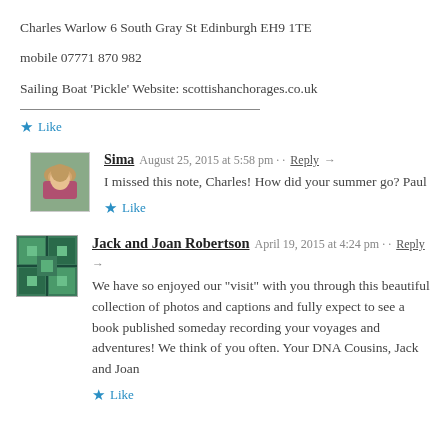Charles Warlow 6 South Gray St Edinburgh EH9 1TE
mobile 07771 870 982
Sailing Boat 'Pickle' Website: scottishanchorages.co.uk
Like
Sima  August 25, 2015 at 5:58 pm  Reply →
I missed this note, Charles! How did your summer go? Paul
Like
Jack and Joan Robertson  April 19, 2015 at 4:24 pm  Reply →
We have so enjoyed our "visit" with you through this beautiful collection of photos and captions and fully expect to see a book published someday recording your voyages and adventures! We think of you often. Your DNA Cousins, Jack and Joan
Like